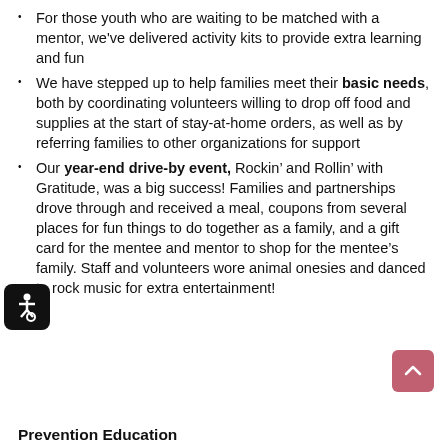For those youth who are waiting to be matched with a mentor, we've delivered activity kits to provide extra learning and fun
We have stepped up to help families meet their basic needs, both by coordinating volunteers willing to drop off food and supplies at the start of stay-at-home orders, as well as by referring families to other organizations for support
Our year-end drive-by event, Rockin' and Rollin' with Gratitude, was a big success! Families and partnerships drove through and received a meal, coupons from several places for fun things to do together as a family, and a gift card for the mentee and mentor to shop for the mentee's family. Staff and volunteers wore animal onesies and danced to rock music for extra entertainment!
Prevention Education